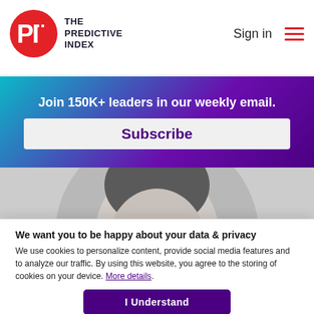THE PREDICTIVE INDEX | Sign in
Join 150K+ leaders in our weekly email.
Subscribe
[Figure (photo): Grayscale circular portrait photo of a smiling man, cropped to show upper face and shoulders]
We want you to be happy about your data & privacy
We use cookies to personalize content, provide social media features and to analyze our traffic. By using this website, you agree to the storing of cookies on your device. More details.
I Understand